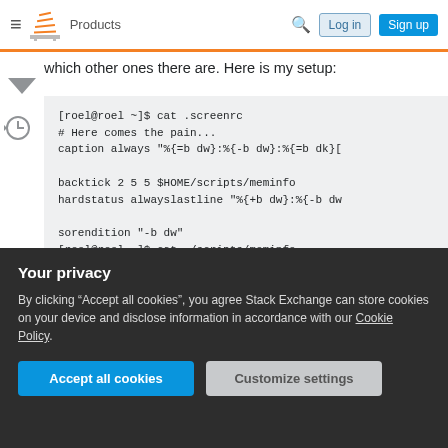≡  [Stack Overflow logo]  Products  🔍  Log in  Sign up
which other ones there are. Here is my setup:
[roel@roel ~]$ cat .screenrc
# Here comes the pain...
caption always "%{=b dw}:%{-b dw}:%{=b dk}[

backtick 2 5 5 $HOME/scripts/meminfo
hardstatus alwayslastline "%{+b dw}:%{-b dw

sorendition "-b dw"
[roel@roel ~]$ cat ~/scripts/meminfo
#!/bin/sh
RAM=`cat /proc/meminfo | grep "MemFree" | a
SWAP=`cat /proc/meminfo | grep "SwapFree" |
Your privacy
By clicking "Accept all cookies", you agree Stack Exchange can store cookies on your device and disclose information in accordance with our Cookie Policy.
Accept all cookies
Customize settings